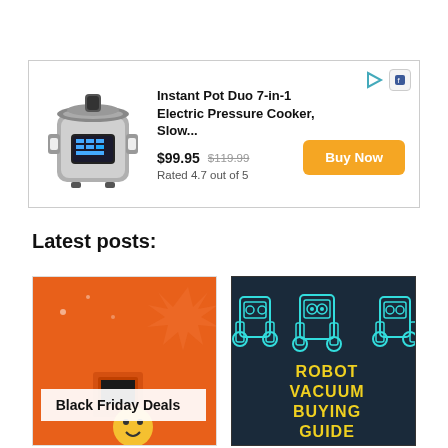[Figure (infographic): Advertisement box for Instant Pot Duo 7-in-1 Electric Pressure Cooker with product image, price $99.95 (was $119.99), rated 4.7 out of 5, and a Buy Now button]
Latest posts:
[Figure (photo): Black Friday Deals post thumbnail — orange background with kitchen appliance illustrations and text 'Black Friday Deals']
[Figure (illustration): Robot Vacuum Buying Guide post thumbnail — dark background with teal robot illustrations and yellow text reading 'ROBOT VACUUM BUYING GUIDE']